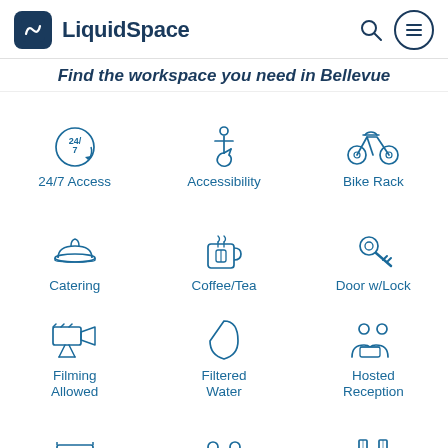LiquidSpace
Find the workspace you need in Bellevue
[Figure (infographic): Grid of amenity icons with labels: 24/7 Access, Accessibility, Bike Rack, Catering, Coffee/Tea, Door w/Lock, Filming Allowed, Filtered Water, Hosted Reception, Kitchen, Meeting, On-Site]